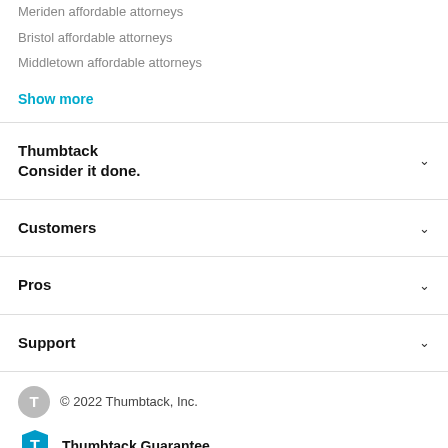Meriden affordable attorneys
Bristol affordable attorneys
Middletown affordable attorneys
Show more
Thumbtack
Consider it done.
Customers
Pros
Support
© 2022 Thumbtack, Inc.
Thumbtack Guarantee